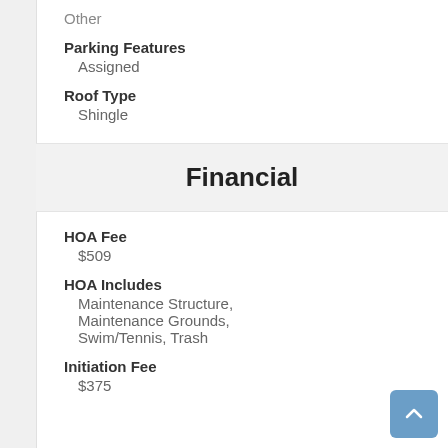Other
Parking Features
Assigned
Roof Type
Shingle
Financial
HOA Fee
$509
HOA Includes
Maintenance Structure, Maintenance Grounds, Swim/Tennis, Trash
Initiation Fee
$375